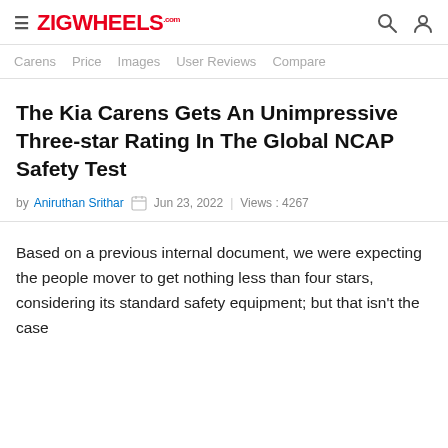ZIGWHEELS.com
Carens  Price  Images  User Reviews  Compare
The Kia Carens Gets An Unimpressive Three-star Rating In The Global NCAP Safety Test
by Aniruthan Srithar  Jun 23, 2022 | Views : 4267
Based on a previous internal document, we were expecting the people mover to get nothing less than four stars, considering its standard safety equipment; but that isn't the case